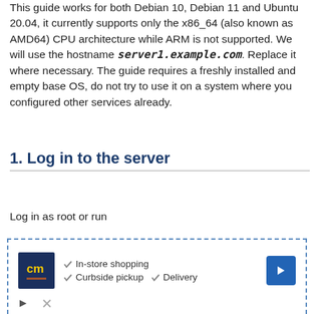This guide works for both Debian 10, Debian 11 and Ubuntu 20.04, it currently supports only the x86_64 (also known as AMD64) CPU architecture while ARM is not supported. We will use the hostname server1.example.com. Replace it where necessary. The guide requires a freshly installed and empty base OS, do not try to use it on a system where you configured other services already.
1. Log in to the server
Log in as root or run
[Figure (other): Advertisement banner with CM logo, checkmarks for In-store shopping, Curbside pickup, Delivery, and a blue navigation arrow icon]